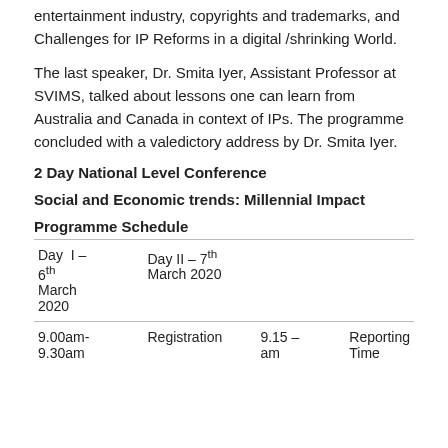entertainment industry, copyrights and trademarks, and Challenges for IP Reforms in a digital /shrinking World.
The last speaker, Dr. Smita Iyer, Assistant Professor at SVIMS, talked about lessons one can learn from Australia and Canada in context of IPs. The programme concluded with a valedictory address by Dr. Smita Iyer.
2 Day National Level Conference
Social and Economic trends: Millennial Impact
Programme Schedule
| Day I – 6th March 2020 | Day II – 7th March 2020 |  |  |
| --- | --- | --- | --- |
| 9.00am-9.30am | Registration | 9.15 – am | Reporting Time |